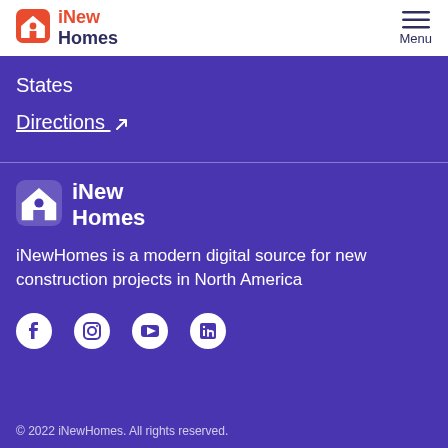[Figure (logo): iNewHomes logo with orange house icon and text 'iNew Homes' in red/navy]
States
Directions ↗
[Figure (logo): iNewHomes footer logo with white house icon and white text 'iNew Homes']
iNewHomes is a modern digital source for new construction projects in North America
[Figure (infographic): Social media icons: Facebook, Instagram, YouTube, LinkedIn]
© 2022 iNewHomes. All rights reserved.